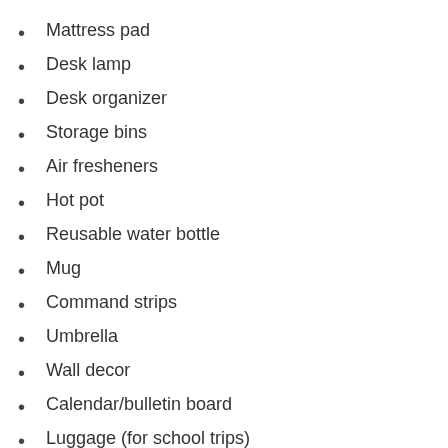Mattress pad
Desk lamp
Desk organizer
Storage bins
Air fresheners
Hot pot
Reusable water bottle
Mug
Command strips
Umbrella
Wall decor
Calendar/bulletin board
Luggage (for school trips)
Phone charger
Clothes (your space will be limited, so only bring what you will wear):
Undergarments